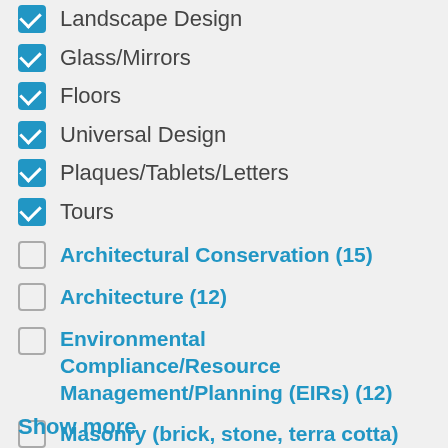Landscape Design (checked)
Glass/Mirrors (checked)
Floors (checked)
Universal Design (checked)
Plaques/Tablets/Letters (checked)
Tours (checked)
Architectural Conservation (15) (unchecked)
Architecture (12) (unchecked)
Environmental Compliance/Resource Management/Planning (EIRs) (12) (unchecked)
Masonry (brick, stone, terra cotta) (12) (unchecked)
Painting/Color Consulting (11) (unchecked)
Historic Finishes Consulting (10) (unchecked)
Show more